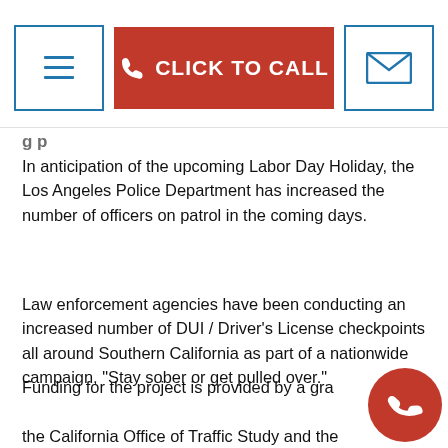CLICK TO CALL
In anticipation of the upcoming Labor Day Holiday, the Los Angeles Police Department has increased the number of officers on patrol in the coming days.
Law enforcement agencies have been conducting an increased number of DUI / Driver’s License checkpoints all around Southern California as part of a nationwide campaign, “Stay sober or get pulled over.”
Funding for the project is provided by a grant from the California Office of Traffic Study and the